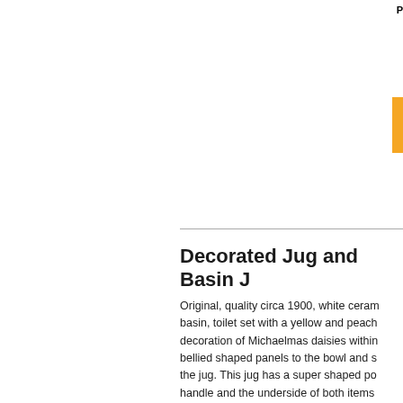P
Decorated Jug and Basin J
Original, quality circa 1900, white ceram basin, toilet set with a yellow and peach decoration of Michaelmas daisies within bellied shaped panels to the bowl and s the jug. This jug has a super shaped po handle and the underside of both items with the registration number for the yea complete and in good and working orde
Jug 12" tall x 8.5" x 11" including handle
Bowl 5" tall x 15.75".
Click on photo for larger and other view
Price: £125.00